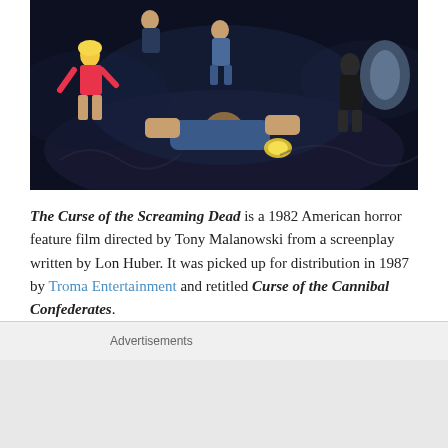[Figure (illustration): Movie poster or artwork for The Curse of the Screaming Dead showing animated horror characters including figures in dark atmospheric background]
The Curse of the Screaming Dead is a 1982 American horror feature film directed by Tony Malanowski from a screenplay written by Lon Huber. It was picked up for distribution in 1987 by Troma Entertainment and retitled Curse of the Cannibal Confederates.
The film follows six young friends who unwillingly raise the undead corpses of Confederate soldiers, resulting in what the video box promises as a "a finger-licking good
Advertisements